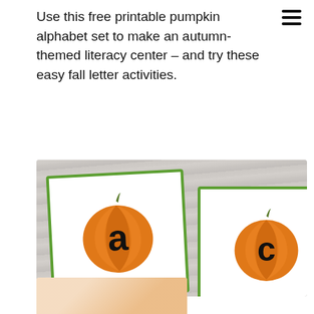Use this free printable pumpkin alphabet set to make an autumn-themed literacy center – and try these easy fall letter activities.
[Figure (photo): Two pumpkin alphabet cards on a grey wood background. Left card shows an orange pumpkin with the lowercase letter 'a'. Right card shows an orange pumpkin with the lowercase letter 'c'. Both cards have green borders.]
[Figure (photo): Partial view of another image at the bottom of the page showing a pumpkin-themed printable.]